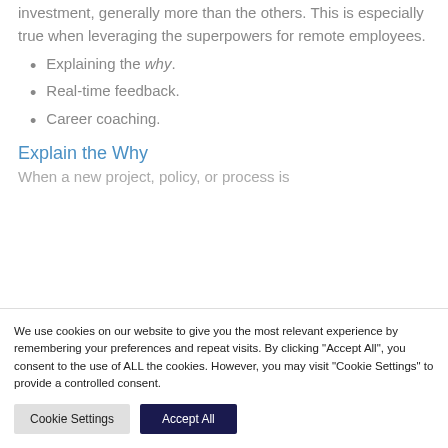investment, generally more than the others. This is especially true when leveraging the superpowers for remote employees.
Explaining the why.
Real-time feedback.
Career coaching.
Explain the Why
When a new project, policy, or process is
We use cookies on our website to give you the most relevant experience by remembering your preferences and repeat visits. By clicking "Accept All", you consent to the use of ALL the cookies. However, you may visit "Cookie Settings" to provide a controlled consent.